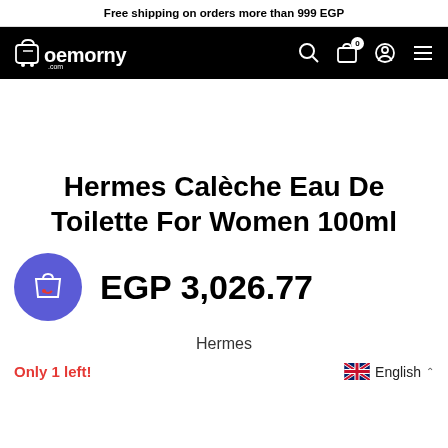Free shipping on orders more than 999 EGP
[Figure (logo): oemorny.com logo in white on black navigation bar with search, cart (0), account, and menu icons]
Hermes Calèche Eau De Toilette For Women 100ml
EGP 3,026.77
Hermes
Only 1 left!
English